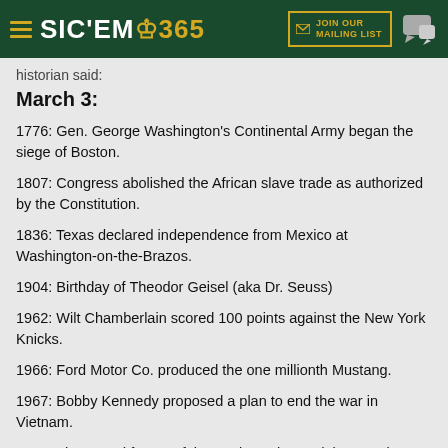SIC'EM 365 — JOIN OUR MAILING LIST
historian said:
March 3:
1776: Gen. George Washington's Continental Army began the siege of Boston.
1807: Congress abolished the African slave trade as authorized by the Constitution.
1836: Texas declared independence from Mexico at Washington-on-the-Brazos.
1904: Birthday of Theodor Geisel (aka Dr. Seuss)
1962: Wilt Chamberlain scored 100 points against the New York Knicks.
1966: Ford Motor Co. produced the one millionth Mustang.
1967: Bobby Kennedy proposed a plan to end the war in Vietnam.
1969: The armed forces of the Soviet Union and the People's Republic of China (the communists) clashed along their mutual